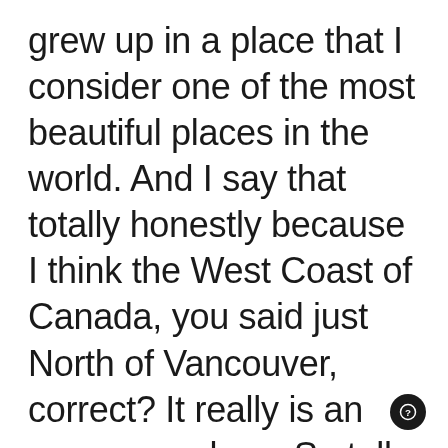grew up in a place that I consider one of the most beautiful places in the world. And I say that totally honestly because I think the West Coast of Canada, you said just North of Vancouver, correct? It really is an awesome place. So tell me, because you grew up there and before you even